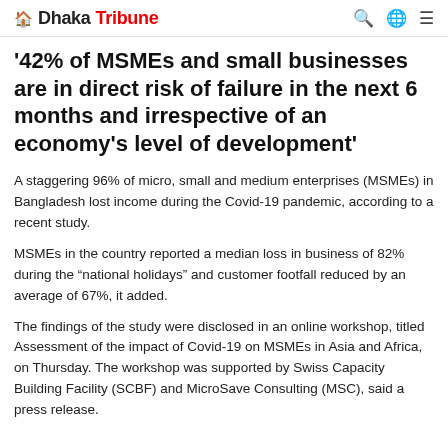Dhaka Tribune
'42% of MSMEs and small businesses are in direct risk of failure in the next 6 months and irrespective of an economy's level of development'
A staggering 96% of micro, small and medium enterprises (MSMEs) in Bangladesh lost income during the Covid-19 pandemic, according to a recent study.
MSMEs in the country reported a median loss in business of 82% during the “national holidays” and customer footfall reduced by an average of 67%, it added.
The findings of the study were disclosed in an online workshop, titled Assessment of the impact of Covid-19 on MSMEs in Asia and Africa, on Thursday. The workshop was supported by Swiss Capacity Building Facility (SCBF) and MicroSave Consulting (MSC), said a press release.